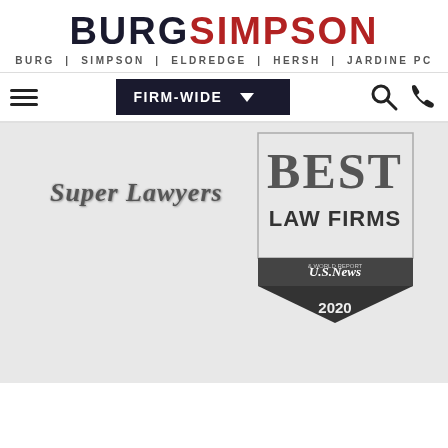[Figure (logo): Burg Simpson law firm logo with text BURGSIMPSON and subtitle BURG | SIMPSON | ELDREDGE | HERSH | JARDINE PC]
[Figure (screenshot): Navigation bar with hamburger menu, FIRM-WIDE dropdown, search icon and phone icon]
[Figure (logo): Super Lawyers embossed badge logo]
[Figure (logo): U.S. News Best Law Firms 2020 badge/shield logo]